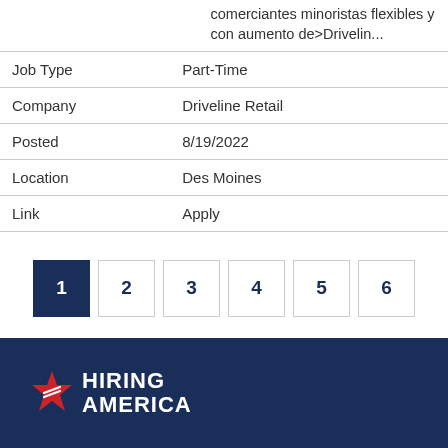comerciantes minoristas flexibles y con aumento de>Drivelin...
| Field | Value |
| --- | --- |
| Job Type | Part-Time |
| Company | Driveline Retail |
| Posted | 8/19/2022 |
| Location | Des Moines |
| Link | Apply |
1 2 3 4 5 6
[Figure (other): Hiring America logo with red star icon on dark navy blue footer background]